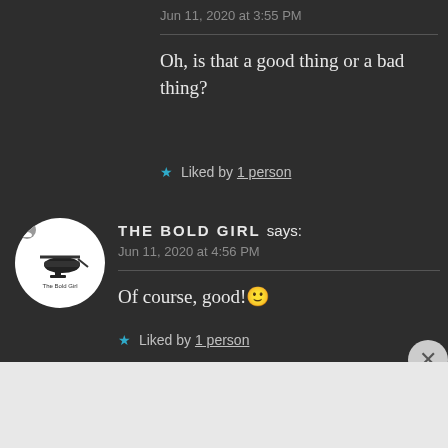Jun 11, 2020 at 3:55 PM
Oh, is that a good thing or a bad thing?
★ Liked by 1 person
THE BOLD GIRL says:
Jun 11, 2020 at 4:56 PM
Of course, good!🙂
★ Liked by 1 person
Advertisements
Bringing you the best stories on the web since 2009.